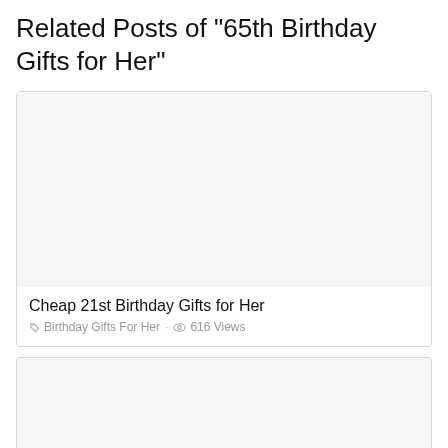Related Posts of "65th Birthday Gifts for Her"
[Figure (photo): Blank/empty image placeholder for Cheap 21st Birthday Gifts for Her card]
Cheap 21st Birthday Gifts for Her
Birthday Gifts For Her · 616 Views
[Figure (photo): Blank/empty image placeholder for second related post card]